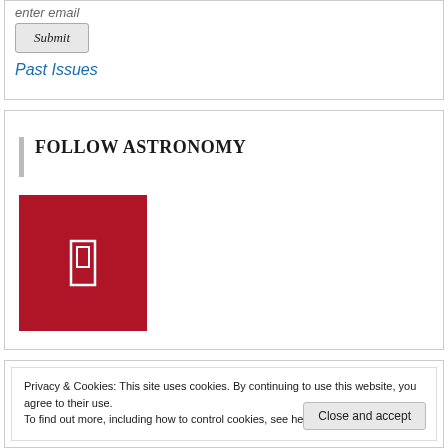enter email
Submit
Past Issues
FOLLOW ASTRONOMY
[Figure (logo): Red square social media button with white rectangle icon (Pinterest-style)]
Privacy & Cookies: This site uses cookies. By continuing to use this website, you agree to their use.
To find out more, including how to control cookies, see here: Cookie Policy
Close and accept